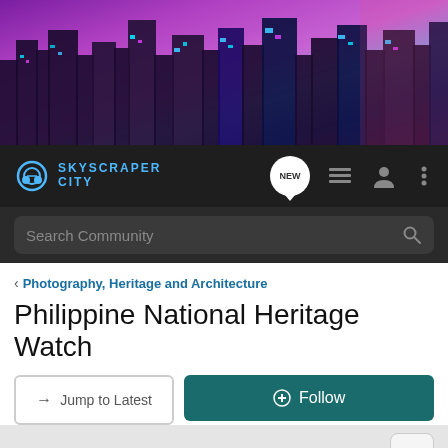[Figure (illustration): Colorful cyberpunk/neon city skyline banner with purple, pink and blue gradient background and silhouetted skyscrapers]
[Figure (logo): SkyscraperCity logo with headphone icon and teal text, navigation bar with NEW chat bubble, menu icon, profile icon, and three-dots menu on dark background]
[Figure (screenshot): Dark search bar with 'Search Community' placeholder text and magnifying glass icon]
Photography, Heritage and Architecture
Philippine National Heritage Watch
Jump to Latest
Follow
[Figure (other): Bar chart icon and two dots representing statistics/activity indicator]